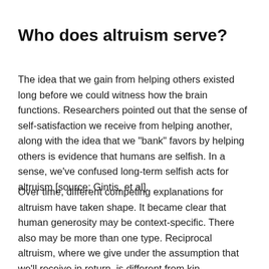Who does altruism serve?
The idea that we gain from helping others existed long before we could witness how the brain functions. Researchers pointed out that the sense of self-satisfaction we receive from helping another, along with the idea that we "bank" favors by helping others is evidence that humans are selfish. In a sense, we've confused long-term selfish acts for altruism [source: Gintis, et al].
Over time, different competing explanations for altruism have taken shape. It became clear that human generosity may be context-specific. There also may be more than one type. Reciprocal altruism, where we give under the assumption that we'll receive in return, is different from kin